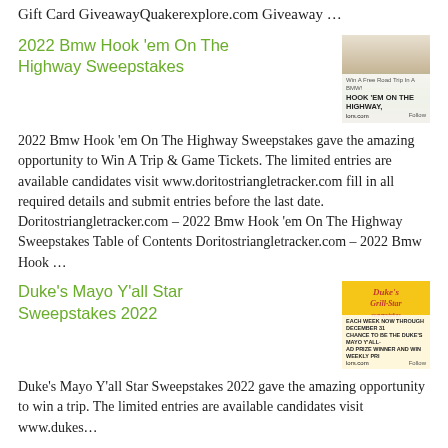Gift Card GiveawayQuakerexplore.com Giveaway …
2022 Bmw Hook 'em On The Highway Sweepstakes
[Figure (photo): Screenshot of a BMW sweepstakes social media post showing a BMW car on a track with text 'Win A Free Road Trip In A BMW!' and 'HOOK 'EM ON THE HIGHWAY, lors.com Follow']
2022 Bmw Hook 'em On The Highway Sweepstakes gave the amazing opportunity to Win A Trip & Game Tickets. The limited entries are available candidates visit www.doritostriangletracker.com fill in all required details and submit entries before the last date. Doritostriangletracker.com – 2022 Bmw Hook 'em On The Highway Sweepstakes Table of Contents Doritostriangletracker.com – 2022 Bmw Hook …
Duke's Mayo Y'all Star Sweepstakes 2022
[Figure (photo): Screenshot of Duke's Mayo Y'all Star Sweepstakes social media post with yellow background, Duke's Grill-Star logo, text about entering each week through December for a chance to be the Duke's Mayo Y'all-Star prize winner and win weekly prizes, lors.com Follow]
Duke's Mayo Y'all Star Sweepstakes 2022 gave the amazing opportunity to win a trip. The limited entries are available candidates visit www.dukes…